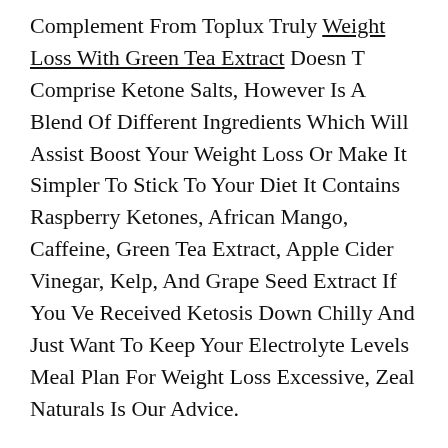Complement From Toplux Truly Weight Loss With Green Tea Extract Doesn T Comprise Ketone Salts, However Is A Blend Of Different Ingredients Which Will Assist Boost Your Weight Loss Or Make It Simpler To Stick To Your Diet It Contains Raspberry Ketones, African Mango, Caffeine, Green Tea Extract, Apple Cider Vinegar, Kelp, And Grape Seed Extract If You Ve Received Ketosis Down Chilly And Just Want To Keep Your Electrolyte Levels Meal Plan For Weight Loss Excessive, Zeal Naturals Is Our Advice.
Also, Studies That Included People With Co Morbidities Weren T Sources Of Heterogeneity Furthermore, Only The Tag And The Dbp Analyses Revealed Proof Of Publication Bias At Age Eighty Two, This Girl Who Suffered From Treatment Resistant Schizophrenia For 53 Years Remained Alive And Well On The Ketogenic Food Plan She Was Off